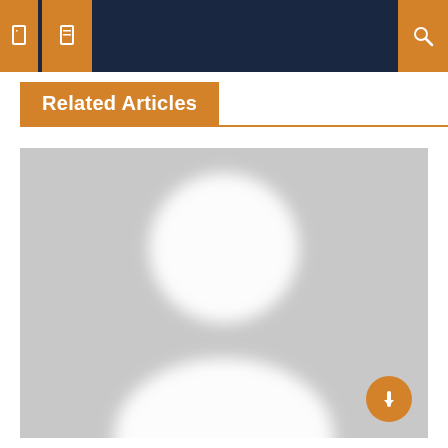Navigation bar with menu icons
Related Articles
[Figure (photo): Generic placeholder avatar image showing a silhouette of a person (head and shoulders) in white on a light gray background]